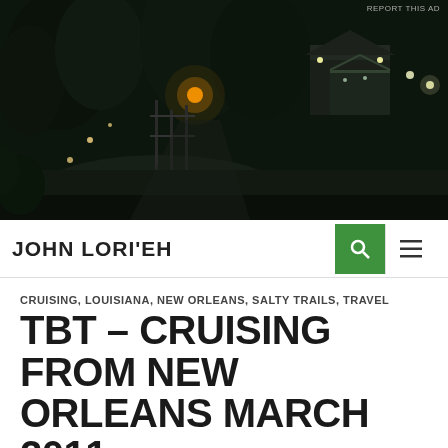[Figure (photo): Night scene of a garden or backyard area with lights illuminating trees, pathways, and structures including what appears to be a shed or small building on the right side. Dark atmospheric outdoor scene.]
JOHN LORI'EH
CRUISING, LOUISIANA, NEW ORLEANS, SALTY TRAILS, TRAVEL
TBT – CRUISING FROM NEW ORLEANS MARCH 2011
MARCH 24, 2016  JOHN  10 COMMENTS